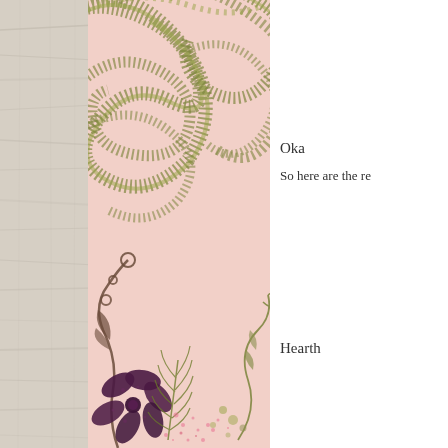[Figure (illustration): Left half of page showing a wooden plank background (whitewashed/grey) on the far left, and a pink card with olive green and purple floral/botanical decorative design. The design includes swirling dotted patterns at the top and stylized flowers, leaves, ferns and vines at the bottom. A large dark purple flower is prominent at the bottom left of the card.]
Oka
So here are the re
Hearth